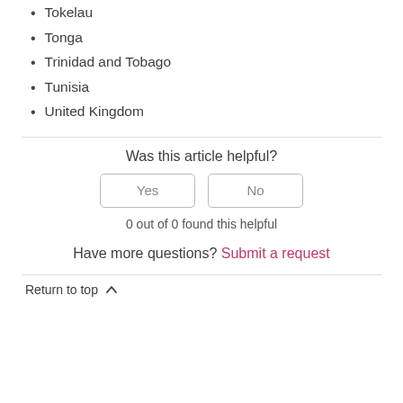Tokelau
Tonga
Trinidad and Tobago
Tunisia
United Kingdom
Was this article helpful?
Yes
No
0 out of 0 found this helpful
Have more questions? Submit a request
Return to top